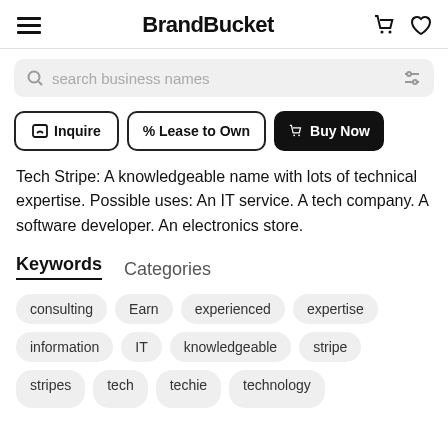BrandBucket
search business names
Inquire   % Lease to Own   Buy Now
Tech Stripe: A knowledgeable name with lots of technical expertise. Possible uses: An IT service. A tech company. A software developer. An electronics store.
Keywords   Categories
consulting
Earn
experienced
expertise
information
IT
knowledgeable
stripe
stripes
tech
techie
technology